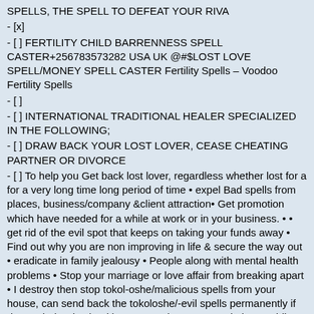SPELLS, THE SPELL TO DEFEAT YOUR RIVA
- [x]
- [ ] FERTILITY CHILD BARRENNESS SPELL CASTER+256783573282 USA UK @#$LOST LOVE SPELL/MONEY SPELL CASTER Fertility Spells – Voodoo Fertility Spells
- [ ]
- [ ] INTERNATIONAL TRADITIONAL HEALER SPECIALIZED IN THE FOLLOWING;
- [ ] DRAW BACK YOUR LOST LOVER, CEASE CHEATING PARTNER OR DIVORCE
- [ ] To help you Get back lost lover, regardless whether lost for a for a very long time long period of time • expel Bad spells from places, business/company &client attraction• Get promotion which have needed for a while at work or in your business. • • get rid of the evil spot that keeps on taking your funds away • Find out why you are non improving in life & secure the way out • eradicate in family jealousy • People along with mental health problems • Stop your marriage or love affair from breaking apart • I destroy then stop tokol-oshe/malicious spells from your house, can send back the tokoloshe/-evil spells permanently if demanded • Also heal barrenness in women and also troubling menstruation • Get you marry to the lover of your choice • Guarantee you win the troubling-[ court cases plus divorce